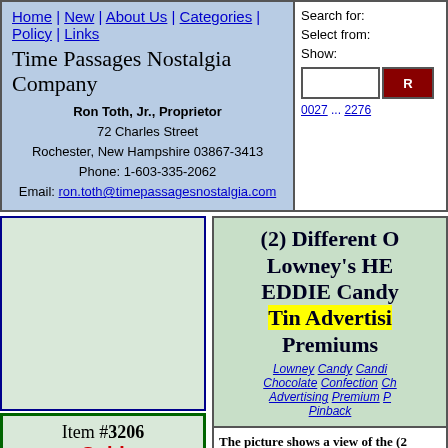Home | New | About Us | Categories | Policy | Links
Time Passages Nostalgia Company
Ron Toth, Jr., Proprietor
72 Charles Street
Rochester, New Hampshire 03867-3413
Phone: 1-603-335-2062
Email: ron.toth@timepassagesnostalgia.com
Search for:
Select from:
Show:
0027 ... 2276
[Figure (other): Product image placeholder (empty light green box)]
Item #3206
Sold
Any group of items being offered as a lot must be sold as a lot.
(2) Different Old Lowney's HEY EDDIE Candy Tin Advertising Premiums
Lowney Candy Candi... Chocolate Confection Ch... Advertising Premium P... Pinback
The picture shows a view of the (2) Different Old Lowney's HEY EL...